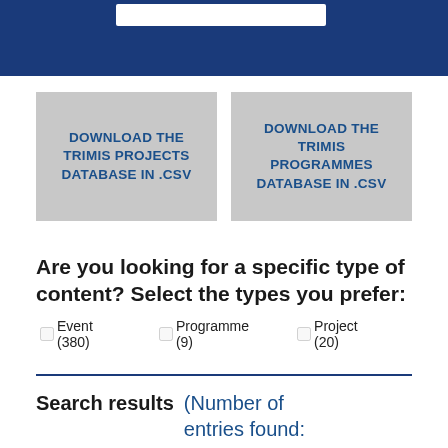[Figure (screenshot): Dark blue top banner with white search bar inside]
DOWNLOAD THE TRIMIS PROJECTS DATABASE IN .CSV
DOWNLOAD THE TRIMIS PROGRAMMES DATABASE IN .CSV
Are you looking for a specific type of content? Select the types you prefer:
Event (380)
Programme (9)
Project (20)
Search results (Number of entries found: